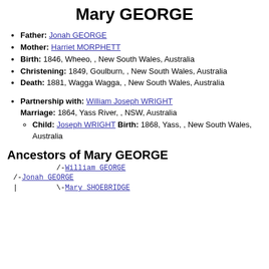Mary GEORGE
Father: Jonah GEORGE
Mother: Harriet MORPHETT
Birth: 1846, Wheeo, , New South Wales, Australia
Christening: 1849, Goulburn, , New South Wales, Australia
Death: 1881, Wagga Wagga, , New South Wales, Australia
Partnership with: William Joseph WRIGHT Marriage: 1864, Yass River, , NSW, Australia Child: Joseph WRIGHT Birth: 1868, Yass, , New South Wales, Australia
Ancestors of Mary GEORGE
/-William GEORGE
/-Jonah GEORGE
|         \-Mary SHOEBRIDGE